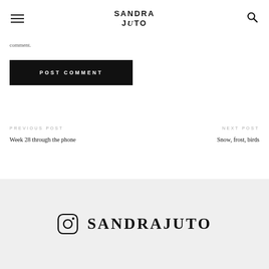SANDRA JUTO
comment.
POST COMMENT
PREVIOUS POST
Week 28 through the phone
NEXT POST
Snow, frost, birds
SANDRAJUTO